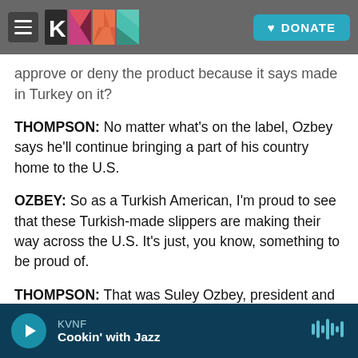KVNF [logo] | DONATE
approve or deny the product because it says made in Turkey on it?
THOMPSON: No matter what's on the label, Ozbey says he'll continue bringing a part of his country home to the U.S.
OZBEY: So as a Turkish American, I'm proud to see that these Turkish-made slippers are making their way across the U.S. It's just, you know, something to be proud of.
THOMPSON: That was Suley Ozbey, president and founder of Charix Shoes in Washington, D.C...
KVNF — Cookin' with Jazz